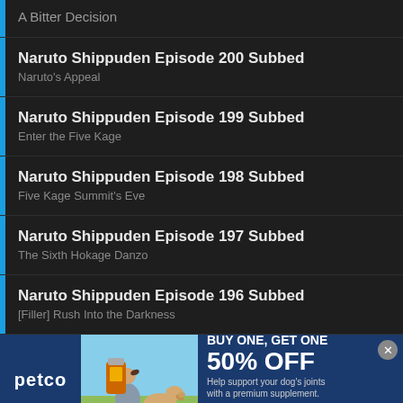A Bitter Decision
Naruto Shippuden Episode 200 Subbed
Naruto's Appeal
Naruto Shippuden Episode 199 Subbed
Enter the Five Kage
Naruto Shippuden Episode 198 Subbed
Five Kage Summit's Eve
Naruto Shippuden Episode 197 Subbed
The Sixth Hokage Danzo
Naruto Shippuden Episode 196 Subbed
[Filler] Rush Into the Darkness
[Figure (photo): Petco advertisement banner: BUY ONE, GET ONE 50% OFF. Help support your dog's joints with a premium supplement. SHOP NOW button. Shows woman with golden retriever dog and supplement product.]